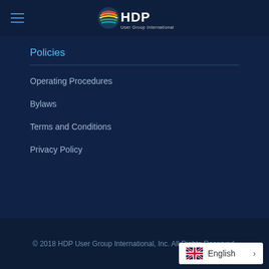HDP User Group International
Policies
Operating Procedures
Bylaws
Terms and Conditions
Privacy Policy
© 2018 HDP User Group International, Inc. All Rights Reserved.
English